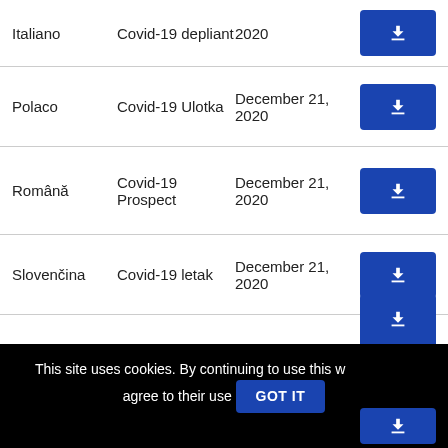| Language | Title | Date | Download |
| --- | --- | --- | --- |
| Italiano | Covid-19 depliant | 2020 | ↓ |
| Polaco | Covid-19 Ulotka | December 21, 2020 | ↓ |
| Română | Covid-19 Prospect | December 21, 2020 | ↓ |
| Slovenčina | Covid-19 letak | December 21, 2020 | ↓ |
| Suomi | Covid-19 tietolehtinen | December 21, 2020 | ↓ |
This site uses cookies. By continuing to use this website, you agree to their use.
GOT IT